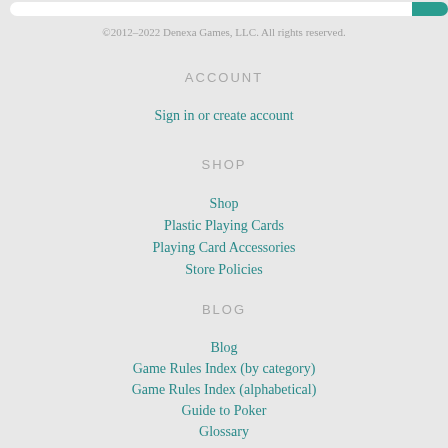©2012–2022 Denexa Games, LLC. All rights reserved.
ACCOUNT
Sign in or create account
SHOP
Shop
Plastic Playing Cards
Playing Card Accessories
Store Policies
BLOG
Blog
Game Rules Index (by category)
Game Rules Index (alphabetical)
Guide to Poker
Glossary